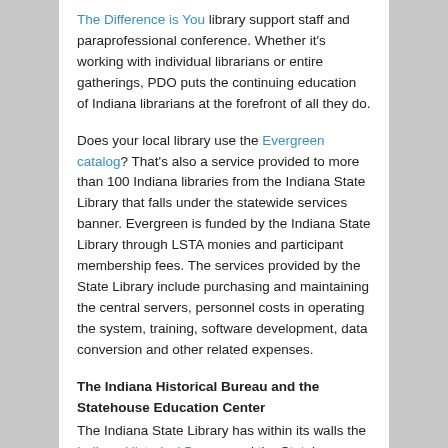The Difference is You library support staff and paraprofessional conference. Whether it's working with individual librarians or entire gatherings, PDO puts the continuing education of Indiana librarians at the forefront of all they do.
Does your local library use the Evergreen catalog? That's also a service provided to more than 100 Indiana libraries from the Indiana State Library that falls under the statewide services banner. Evergreen is funded by the Indiana State Library through LSTA monies and participant membership fees. The services provided by the State Library include purchasing and maintaining the central servers, personnel costs in operating the system, training, software development, data conversion and other related expenses.
The Indiana Historical Bureau and the Statehouse Education Center
The Indiana State Library has within its walls the Indiana Historical Bureau and the Statehouse Education Center.